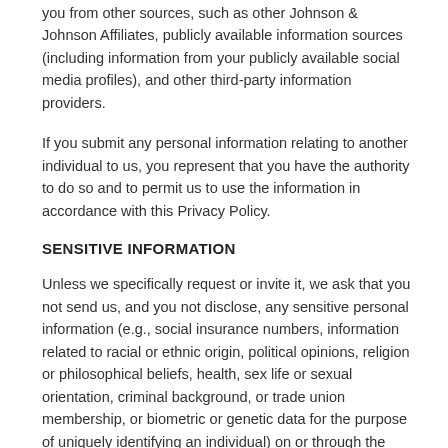you from other sources, such as other Johnson & Johnson Affiliates, publicly available information sources (including information from your publicly available social media profiles), and other third-party information providers.
If you submit any personal information relating to another individual to us, you represent that you have the authority to do so and to permit us to use the information in accordance with this Privacy Policy.
SENSITIVE INFORMATION
Unless we specifically request or invite it, we ask that you not send us, and you not disclose, any sensitive personal information (e.g., social insurance numbers, information related to racial or ethnic origin, political opinions, religion or philosophical beliefs, health, sex life or sexual orientation, criminal background, or trade union membership, or biometric or genetic data for the purpose of uniquely identifying an individual) on or through the